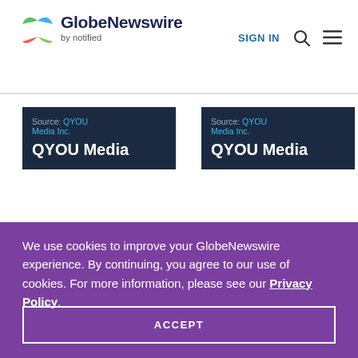[Figure (logo): GlobeNewswire by notified logo with colorful leaf/butterfly icon]
SIGN IN
Source: QYOU Media Inc.
QYOU Media
Source: QYOU Media Inc.
QYOU Media
We use cookies to improve your GlobeNewswire experience. By continuing, you agree to our use of cookies. For more information, please see our Privacy Policy.
ACCEPT